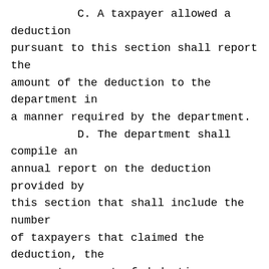C. A taxpayer allowed a deduction pursuant to this section shall report the amount of the deduction to the department in a manner required by the department. D. The department shall compile an annual report on the deduction provided by this section that shall include the number of taxpayers that claimed the deduction, the aggregate amount of deductions claimed and any other information necessary to evaluate the effectiveness of the deduction. The department shall present the annual report to the revenue stabilization and tax policy committee and the legislative finance